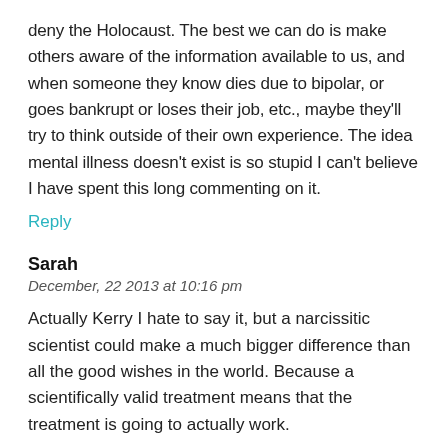deny the Holocaust. The best we can do is make others aware of the information available to us, and when someone they know dies due to bipolar, or goes bankrupt or loses their job, etc., maybe they'll try to think outside of their own experience. The idea mental illness doesn't exist is so stupid I can't believe I have spent this long commenting on it.
Reply
Sarah
December, 22 2013 at 10:16 pm
Actually Kerry I hate to say it, but a narcissitic scientist could make a much bigger difference than all the good wishes in the world. Because a scientifically valid treatment means that the treatment is going to actually work.
Medication IS empowering. I have plenty of bipolar friends but at the end of the day the lithium is what stops